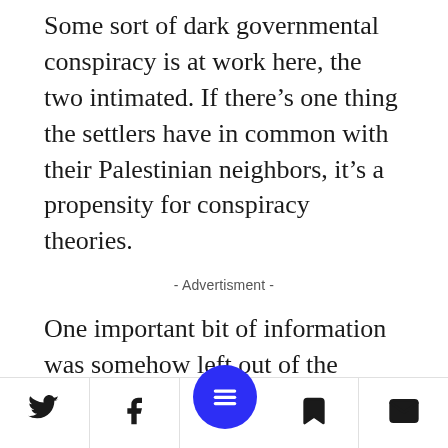Some sort of dark governmental conspiracy is at work here, the two intimated. If there's one thing the settlers have in common with their Palestinian neighbors, it's a propensity for conspiracy theories.
- Advertisment -
One important bit of information was somehow left out of the interview, namely, that it was the settlers' leadership who informed on Fein to the authorities. Her remarks, which certainly deserve to be roundly condemned, are not so different from many of